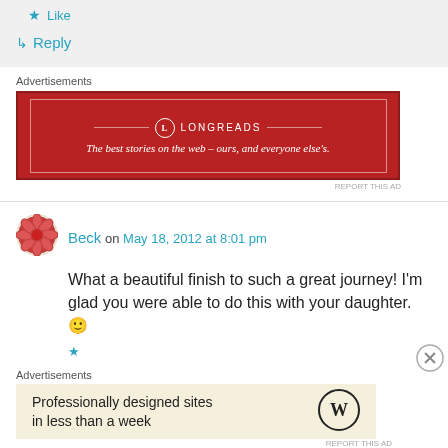Like
Reply
Advertisements
[Figure (illustration): Longreads advertisement banner in dark red with text: LONGREADS - The best stories on the web — ours, and everyone else's.]
REPORT THIS AD
Beck on May 18, 2012 at 8:01 pm
What a beautiful finish to such a great journey! I'm glad you were able to do this with your daughter. 🙂
Advertisements
[Figure (illustration): WordPress advertisement: Professionally designed sites in less than a week]